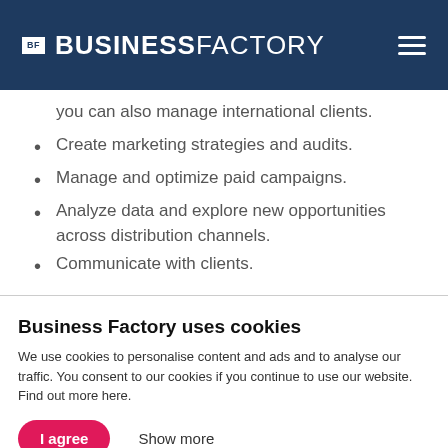BF BUSINESSFACTORY
you can also manage international clients.
Create marketing strategies and audits.
Manage and optimize paid campaigns.
Analyze data and explore new opportunities across distribution channels.
Communicate with clients.
Business Factory uses cookies
We use cookies to personalise content and ads and to analyse our traffic. You consent to our cookies if you continue to use our website. Find out more here.
I agree   Show more